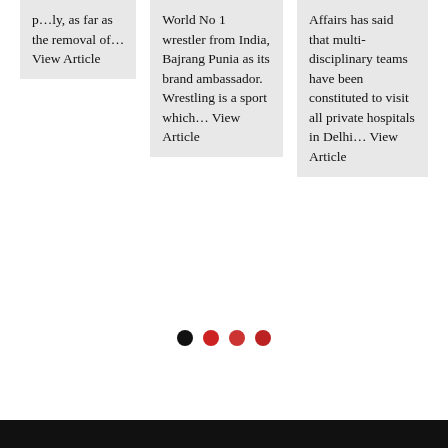p…ly, as far as the removal of… View Article
World No 1 wrestler from India, Bajrang Punia as its brand ambassador. Wrestling is a sport which… View Article
Affairs has said that multi-disciplinary teams have been constituted to visit all private hospitals in Delhi… View Article
[Figure (other): Navigation dots: one black dot followed by three red dots]